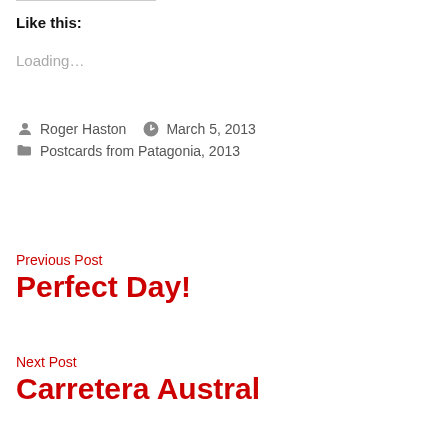Like this:
Loading...
Roger Haston   March 5, 2013
Postcards from Patagonia, 2013
Previous Post
Perfect Day!
Next Post
Carretera Austral